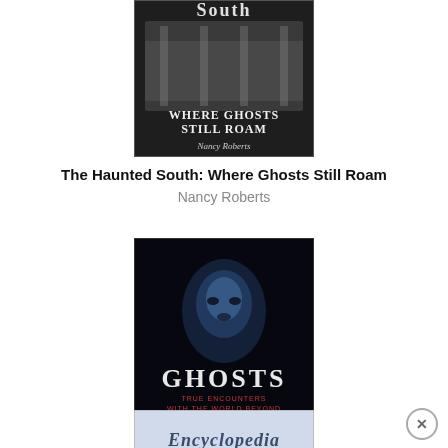[Figure (photo): Book cover of 'The Haunted South: Where Ghosts Still Roam' by Nancy Roberts. Dark cover with cemetery imagery and bold title text.]
The Haunted South: Where Ghosts Still Roam
Nancy Roberts
[Figure (photo): Book cover of 'Ghosts: True Encounters with the World Beyond' by Hans Holzer. Dark cover with ghostly face image and title text.]
Ghosts: True Encounters with the World Beyond
Hans Holzer
[Figure (photo): Bottom of a book cover beginning with text 'Encyclopedia' on a light blue/grey background.]